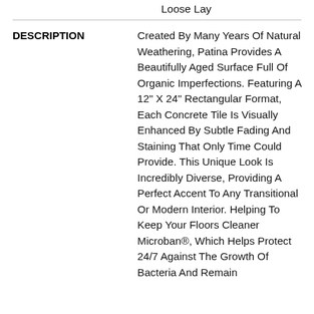Loose Lay
DESCRIPTION
Created By Many Years Of Natural Weathering, Patina Provides A Beautifully Aged Surface Full Of Organic Imperfections. Featuring A 12" X 24" Rectangular Format, Each Concrete Tile Is Visually Enhanced By Subtle Fading And Staining That Only Time Could Provide. This Unique Look Is Incredibly Diverse, Providing A Perfect Accent To Any Transitional Or Modern Interior. Helping To Keep Your Floors Cleaner Microban®, Which Helps Protect 24/7 Against The Growth Of Bacteria And Remain